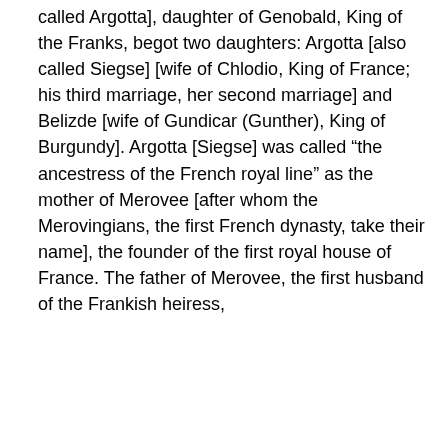called Argotta], daughter of Genobald, King of the Franks, begot two daughters: Argotta [also called Siegse] [wife of Chlodio, King of France; his third marriage, her second marriage] and Belizde [wife of Gundicar (Gunther), King of Burgundy]. Argotta [Siegse] was called “the ancestress of the French royal line” as the mother of Merovee [after whom the Merovingians, the first French dynasty, take their name], the founder of the first royal house of France. The father of Merovee, the first husband of the Frankish heiress,